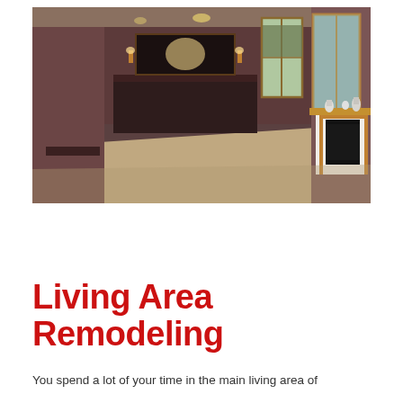[Figure (photo): Interior photo of a home living area showing a large open room with brown/mauve walls, beige carpet, a bar or kitchen counter area in the background with wall sconces and a mirror, sliding glass doors to the right letting in natural light, and a fireplace with wood trim surround on the right side. Decorative lamps and figurines sit on a wooden mantel shelf above the fireplace.]
Living Area Remodeling
You spend a lot of your time in the main living area of your home. City MD home...